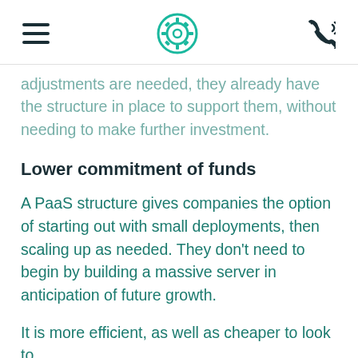[hamburger menu icon] [settings/badge icon] [phone icon]
adjustments are needed, they already have the structure in place to support them, without needing to make further investment.
Lower commitment of funds
A PaaS structure gives companies the option of starting out with small deployments, then scaling up as needed. They don’t need to begin by building a massive server in anticipation of future growth.
It is more efficient, as well as cheaper to look to